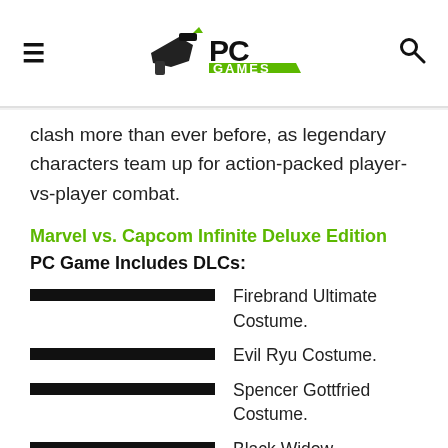PC Games (logo header with hamburger menu and search icon)
clash more than ever before, as legendary characters team up for action-packed player-vs-player combat.
Marvel vs. Capcom Infinite Deluxe Edition
PC Game Includes DLCs:
Firebrand Ultimate Costume.
Evil Ryu Costume.
Spencer Gottfried Costume.
Black Widow.
DormammuMolten Costume.
Ghost Rider Outlaw Costume.